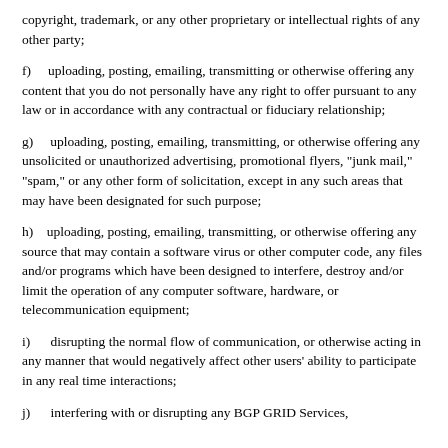copyright, trademark, or any other proprietary or intellectual rights of any other party;
f)     uploading, posting, emailing, transmitting or otherwise offering any content that you do not personally have any right to offer pursuant to any law or in accordance with any contractual or fiduciary relationship;
g)     uploading, posting, emailing, transmitting, or otherwise offering any unsolicited or unauthorized advertising, promotional flyers, "junk mail," "spam," or any other form of solicitation, except in any such areas that may have been designated for such purpose;
h)     uploading, posting, emailing, transmitting, or otherwise offering any source that may contain a software virus or other computer code, any files and/or programs which have been designed to interfere, destroy and/or limit the operation of any computer software, hardware, or telecommunication equipment;
i)     disrupting the normal flow of communication, or otherwise acting in any manner that would negatively affect other users' ability to participate in any real time interactions;
j)     interfering with or disrupting any BGP GRID Services,